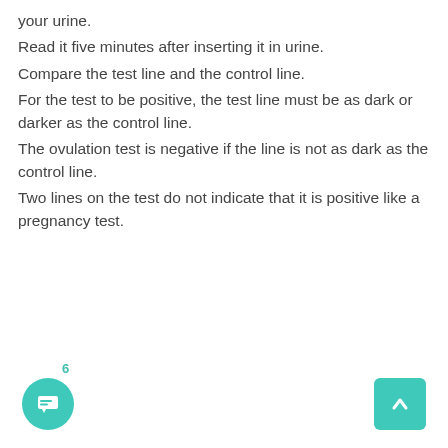your urine.
Read it five minutes after inserting it in urine.
Compare the test line and the control line.
For the test to be positive, the test line must be as dark or darker as the control line.
The ovulation test is negative if the line is not as dark as the control line.
Two lines on the test do not indicate that it is positive like a pregnancy test.
6